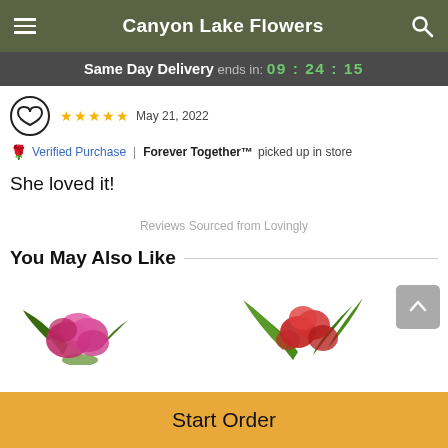Canyon Lake Flowers
Same Day Delivery ends in: 09:24:15
★★★★★  May 21, 2022
🌹 Verified Purchase | Forever Together™ picked up in store
She loved it!
Reviews Sourced from Lovingly
You May Also Like
[Figure (photo): Two product images: pink/magenta flowers on left, red roses with greenery on right]
Start Order